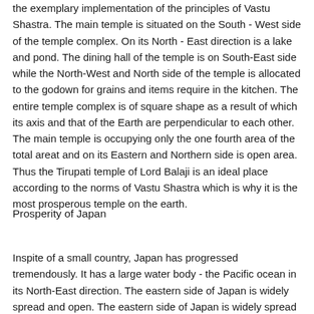the exemplary implementation of the principles of Vastu Shastra. The main temple is situated on the South - West side of the temple complex. On its North - East direction is a lake and pond. The dining hall of the temple is on South-East side while the North-West and North side of the temple is allocated to the godown for grains and items require in the kitchen. The entire temple complex is of square shape as a result of which its axis and that of the Earth are perpendicular to each other. The main temple is occupying only the one fourth area of the total areat and on its Eastern and Northern side is open area. Thus the Tirupati temple of Lord Balaji is an ideal place according to the norms of Vastu Shastra which is why it is the most prosperous temple on the earth.
Prosperity of Japan
Inspite of a small country, Japan has progressed tremendously. It has a large water body - the Pacific ocean in its North-East direction. The eastern side of Japan is widely spread and open. The eastern side of Japan is widely spread and open. This is...